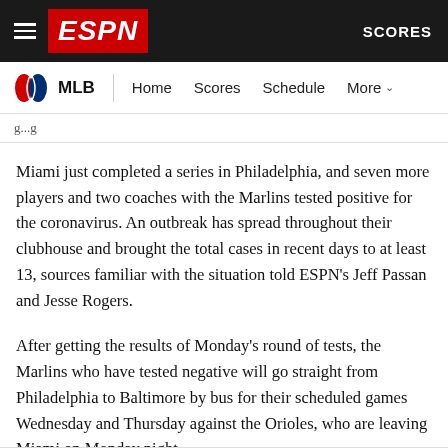ESPN - SCORES
MLB | Home  Scores  Schedule  More
Miami just completed a series in Philadelphia, and seven more players and two coaches with the Marlins tested positive for the coronavirus. An outbreak has spread throughout their clubhouse and brought the total cases in recent days to at least 13, sources familiar with the situation told ESPN's Jeff Passan and Jesse Rogers.
After getting the results of Monday's round of tests, the Marlins who have tested negative will go straight from Philadelphia to Baltimore by bus for their scheduled games Wednesday and Thursday against the Orioles, who are leaving Miami on Monday night.